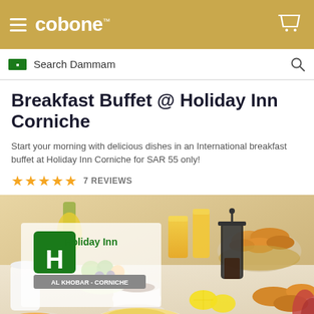cobone™
Search Dammam
Breakfast Buffet @ Holiday Inn Corniche
Start your morning with delicious dishes in an International breakfast buffet at Holiday Inn Corniche for SAR 55 only!
★★★★★ 7 REVIEWS
[Figure (photo): Breakfast buffet spread with croissants, fruit, coffee, juice, eggs, and Holiday Inn AL KHOBAR - CORNICHE logo overlay]